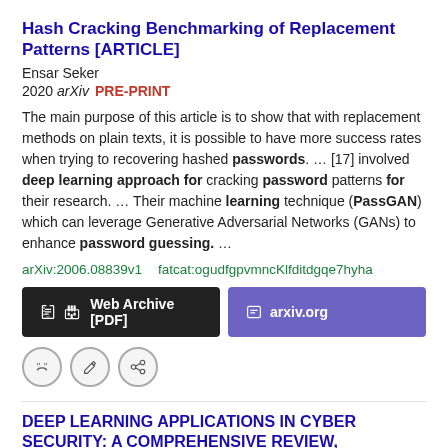Hash Cracking Benchmarking of Replacement Patterns [ARTICLE]
Ensar Seker
2020 arXiv  PRE-PRINT
The main purpose of this article is to show that with replacement methods on plain texts, it is possible to have more success rates when trying to recovering hashed passwords.  ...  [17] involved deep learning approach for cracking password patterns for their research.  ...  Their machine learning technique (PassGAN) which can leverage Generative Adversarial Networks (GANs) to enhance password guessing.  ...
arXiv:2006.08839v1  fatcat:ogudfgpvmncKlfditdgqe7hyha
Web Archive [PDF]   arxiv.org
DEEP LEARNING APPLICATIONS IN CYBER SECURITY: A COMPREHENSIVE REVIEW, CHALLENGES AND PROSPECTS